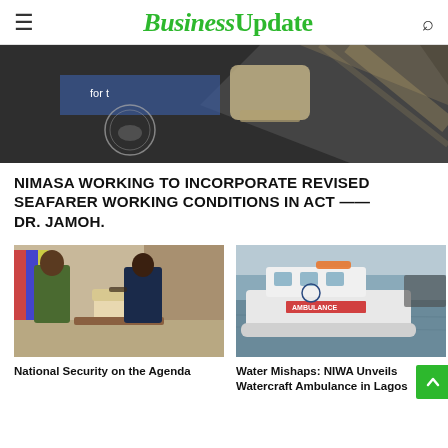BusinessUpdate
[Figure (photo): Hero image showing a conference/meeting room scene with a chair and glass panel, partial signage visible]
NIMASA WORKING TO INCORPORATE REVISED SEAFARER WORKING CONDITIONS IN ACT —— Dr. JAMOH.
[Figure (photo): Two men standing and talking indoors — one in military/uniform attire, one in a business suit, office setting with sofas and a wooden table]
National Security on the Agenda
[Figure (photo): A white boat labeled 'AMBULANCE' docked on water, with other vessels visible in the background]
Water Mishaps: NIWA Unveils Watercraft Ambulance in Lagos